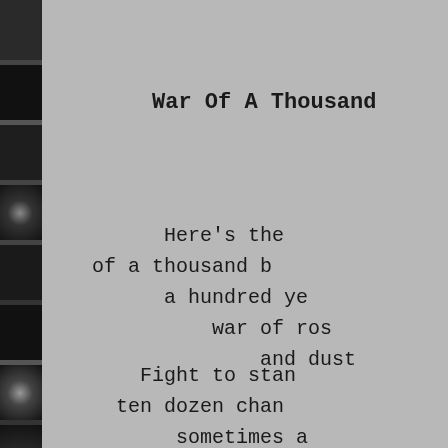[Figure (photo): Left margin strip of dark black-and-white photos arranged vertically, showing books on shelves and skulls]
War Of A Thousand
Here's the
of a thousand b
a hundred ye
war of ros
and dust
Fight to stan
ten dozen chan
sometimes a